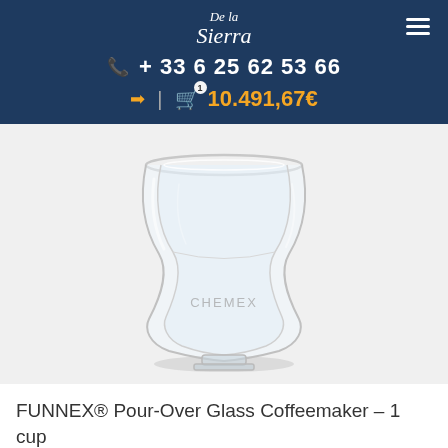De la Sierra
+ 33 6 25 62 53 66
10.491,67€
[Figure (photo): CHEMEX FUNNEX double-wall hourglass-shaped pour-over glass coffeemaker, clear borosilicate glass with CHEMEX branding visible, on white background]
FUNNEX® Pour-Over Glass Coffeemaker – 1 cup